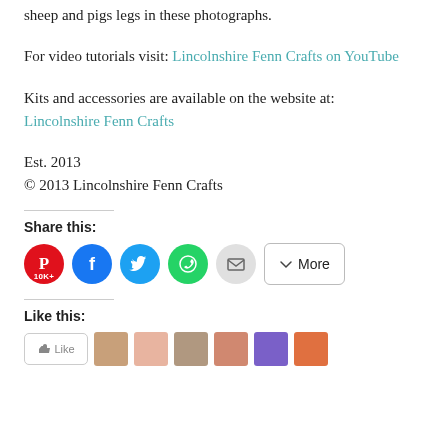sheep and pigs legs in these photographs.
For video tutorials visit: Lincolnshire Fenn Crafts on YouTube
Kits and accessories are available on the website at: Lincolnshire Fenn Crafts
Est. 2013
© 2013 Lincolnshire Fenn Crafts
Share this:
[Figure (infographic): Social share buttons: Pinterest (10K+), Facebook, Twitter, WhatsApp, Email, and a More button]
Like this:
[Figure (infographic): Like button and a row of avatar thumbnails]